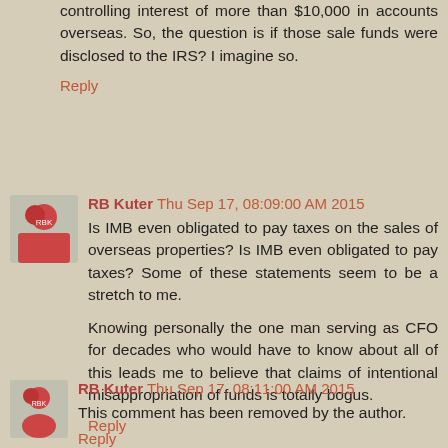controlling interest of more than $10,000 in accounts overseas. So, the question is if those sale funds were disclosed to the IRS? I imagine so.
Reply
RB Kuter  Thu Sep 17, 08:09:00 AM 2015
Is IMB even obligated to pay taxes on the sales of overseas properties? Is IMB even obligated to pay taxes? Some of these statements seem to be a stretch to me.
Knowing personally the one man serving as CFO for decades who would have to know about all of this leads me to believe that claims of intentional misappropriation of funds is totally bogus.
Reply
RB Kuter  Thu Sep 17, 08:11:00 AM 2015
This comment has been removed by the author.
Reply